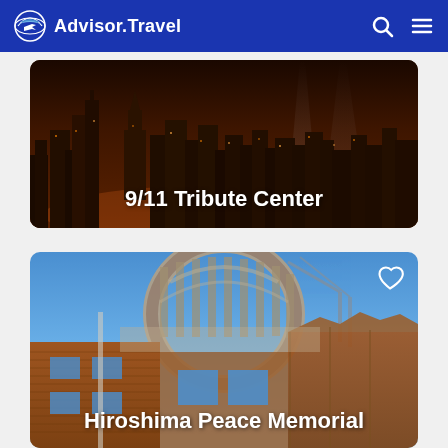Advisor.Travel
[Figure (photo): Night cityscape with two beams of light shooting upward into the sky — NYC skyline for 9/11 Tribute Center card]
9/11 Tribute Center
[Figure (photo): Hiroshima Peace Memorial (Atomic Bomb Dome) ruins — brick walls and skeletal dome frame against blue sky]
Hiroshima Peace Memorial